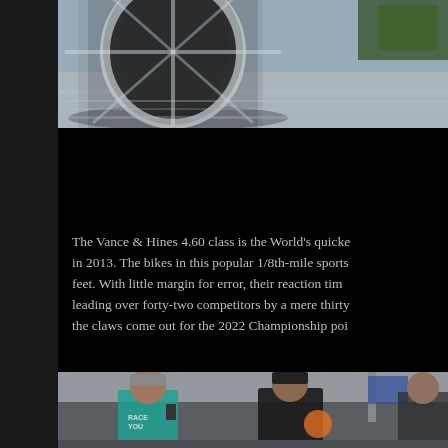[Figure (photo): Close-up photo of a motorcycle wheel/tire in motion on a drag strip, blurred background suggesting high speed, black and dark tones with chrome wheel visible]
Vance & Hines 4.60 Index
Points Leader – Mac McAdams
The Vance & Hines 4.60 class is the World's quickest in 2013. The bikes in this popular 1/8th-mile sports feet. With little margin for error, their reaction tim leading over forty-two competitors by a mere thirty the claws come out for the 2022 Championship poi
[Figure (photo): Photo of people at a motorsports event, one person wearing a teal shirt with text, another person in black clothing, appears to be at a drag racing venue]